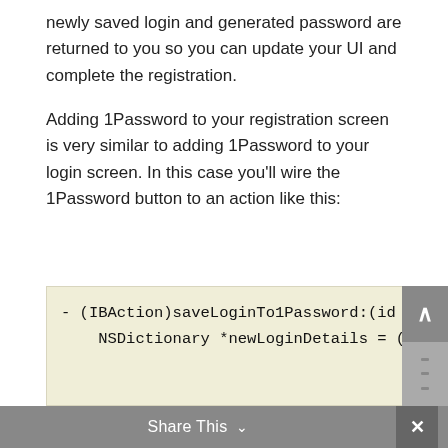newly saved login and generated password are returned to you so you can update your UI and complete the registration.
Adding 1Password to your registration screen is very similar to adding 1Password to your login screen. In this case you'll wire the 1Password button to an action like this:
[Figure (screenshot): Code block showing Objective-C method: - (IBAction)saveLoginTo1Password:(id  and NSDictionary *newLoginDetails = ( on a light beige background]
Share This  ∨  ×